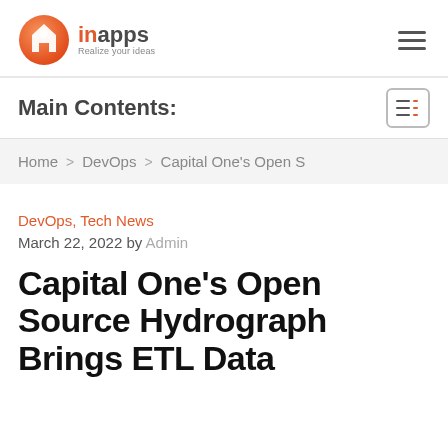[Figure (logo): InApps logo with orange circle icon and text 'inapps Realize your ideas']
Main Contents:
Home > DevOps > Capital One's Open S
DevOps, Tech News
March 22, 2022 by Admin
Capital One's Open Source Hydrograph Brings ETL Data